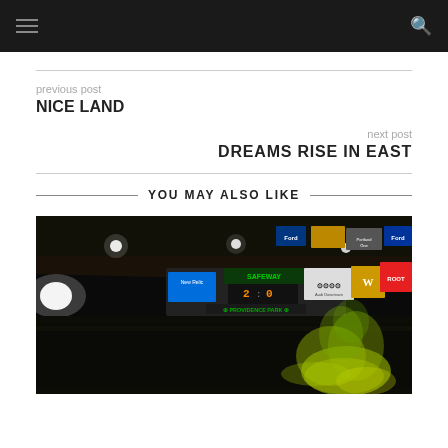navigation header with hamburger menu and search icon
previous post
NICE LAND
next post
DREAMS RISE IN EAST
YOU MAY ALSO LIKE
[Figure (photo): Night-time stadium photo of Providence Park with scoreboard, sponsor banners (Audi, Safeway, Ford, Root, etc.), and yellow-green smoke flare in crowd]